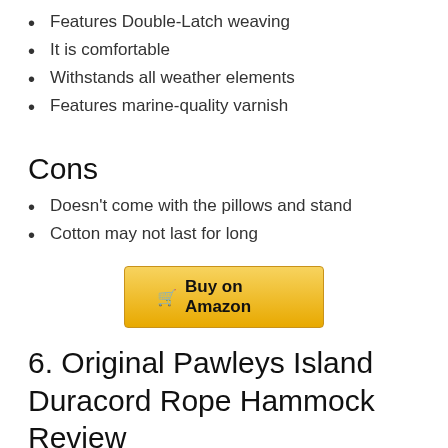Features Double-Latch weaving
It is comfortable
Withstands all weather elements
Features marine-quality varnish
Cons
Doesn't come with the pillows and stand
Cotton may not last for long
[Figure (other): Buy on Amazon button with shopping cart icon]
6. Original Pawleys Island Duracord Rope Hammock Review